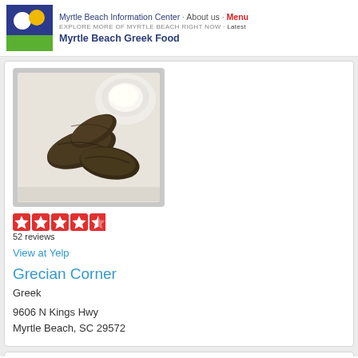Myrtle Beach Information Center · About us · Menu
EXPLORE MORE OF MYRTLE BEACH RIGHT NOW · Latest
Myrtle Beach Greek Food
[Figure (photo): Photo of Greek dolmades (stuffed grape leaves) served in a takeout container with tzatziki sauce]
52 reviews
View at Yelp
Grecian Corner
Greek
9606 N Kings Hwy
Myrtle Beach, SC 29572
[Figure (photo): Partial photo of another Greek food restaurant listing at the bottom of the page]